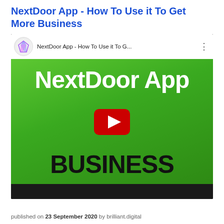NextDoor App - How To Use it To Get More Business
[Figure (screenshot): YouTube video embed showing 'NextDoor App - How To Use it To Get More Business' with a green background thumbnail displaying 'NextDoor App' in white bold text, a YouTube play button in center, and 'BUSINESS' in large black bold text below. Top bar shows channel icon and video title 'NextDoor App - How To Use it To G...' with three-dot menu.]
published on 23 September 2020 by brilliant.digital